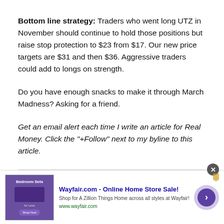Bottom line strategy: Traders who went long UTZ in November should continue to hold those positions but raise stop protection to $23 from $17. Our new price targets are $31 and then $36. Aggressive traders could add to longs on strength.
Do you have enough snacks to make it through March Madness? Asking for a friend.
Get an email alert each time I write an article for Real Money. Click the "+Follow" next to my byline to this article.
[Figure (other): Wayfair.com advertisement banner with purple bedroom furniture image, title 'Wayfair.com - Online Home Store Sale!', description 'Shop for A Zillion Things Home across all styles at Wayfair!', URL 'www.wayfair.com', and a purple navigation chevron button.]